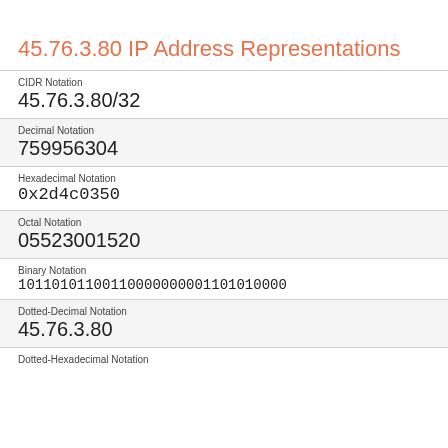45.76.3.80 IP Address Representations
| Notation | Value |
| --- | --- |
| CIDR Notation | 45.76.3.80/32 |
| Decimal Notation | 759956304 |
| Hexadecimal Notation | 0x2d4c0350 |
| Octal Notation | 05523001520 |
| Binary Notation | 10110101100110000000001101010000 |
| Dotted-Decimal Notation | 45.76.3.80 |
| Dotted-Hexadecimal Notation |  |